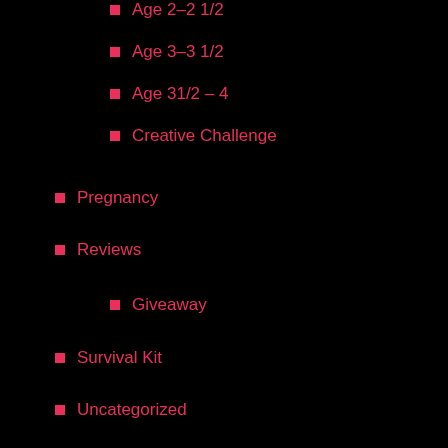Age 2–2 1/2
Age 3–3 1/2
Age 31/2 – 4
Creative Challenge
Pregnancy
Reviews
Giveaway
Survival Kit
Uncategorized
[Figure (logo): I Disclose badge from disclosurepolicy.org — blue background with checkbox and text 'I DISCLOSE' and 'DISCLOSUREPOLICY.ORG']
Pages
About Us
Contact
Disclosure
Great Blogs